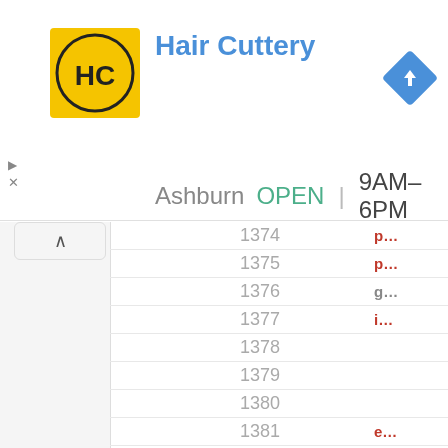Hair Cuttery — Ashburn OPEN 9AM–6PM
| # | label |
| --- | --- |
| 1374 | p... |
| 1375 | p... |
| 1376 | g... |
| 1377 | i... |
| 1378 |  |
| 1379 |  |
| 1380 |  |
| 1381 | e... |
| 1382 | e... |
| 1383 | g... |
| 1384 | g... |
| 1385 |  |
| 1386 |  |
| 1387 |  |
| 1388 | e... |
| 1389 | e... |
| 1390 | a... |